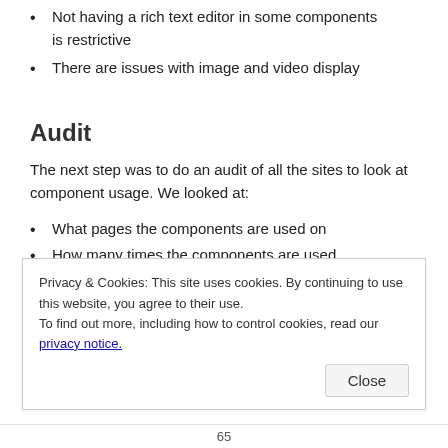Not having a rich text editor in some components is restrictive
There are issues with image and video display
Audit
The next step was to do an audit of all the sites to look at component usage. We looked at:
What pages the components are used on
How many times the components are used
Screenshot all components to review how they
Privacy & Cookies: This site uses cookies. By continuing to use this website, you agree to their use.
To find out more, including how to control cookies, read our privacy notice.
65